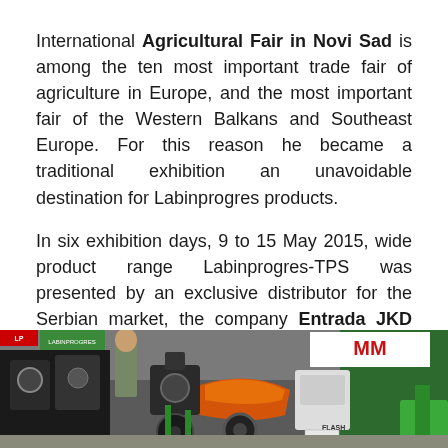International Agricultural Fair in Novi Sad is among the ten most important trade fair of agriculture in Europe, and the most important fair of the Western Balkans and Southeast Europe. For this reason he became a traditional exhibition an unavoidable destination for Labinprogres products.
In six exhibition days, 9 to 15 May 2015, wide product range Labinprogres-TPS was presented by an exclusive distributor for the Serbian market, the company Entrada JKD and distributor company Šaptović.
[Figure (photo): Photo of agricultural machinery and equipment displayed at the International Agricultural Fair in Novi Sad, showing various green and dark-colored machines, an orange-colored vehicle component, and exhibition banners.]